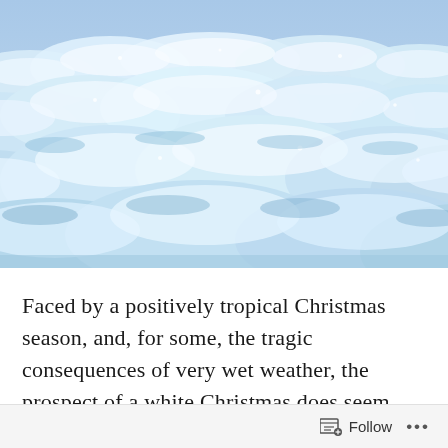[Figure (photo): Close-up aerial/overhead photograph of snow drifts on a surface, showing rounded blue-white mounds of snow with textured icy surfaces under bright light, giving a wave-like pattern across the image.]
Faced by a positively tropical Christmas season, and, for some, the tragic consequences of very wet weather, the prospect of a white Christmas does seem
Follow ...